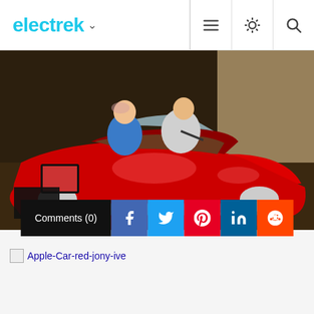electrek
[Figure (photo): Two people sitting in a large red vintage-style car inside a room. One person in a blue shirt, another in a white top. A tablet device visible on the left side.]
Comments (0)
[Figure (other): Broken image placeholder with alt text: Apple-Car-red-jony-ive]